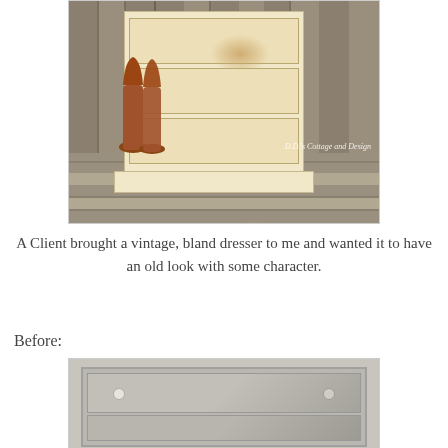[Figure (photo): A distressed vintage dresser painted cream/white with brown worn patches, sitting on a rustic wooden deck against a grey wood plank wall. A pair of brown cowboy boots leans against the dresser. Watermark reads 'D.D.'s Cottage and Design'.]
A Client brought a vintage, bland dresser to me and wanted it to have an old look with some character.
Before:
[Figure (photo): A plain grey/beige dresser before refinishing, showing two drawers with white round knobs, on a light background.]